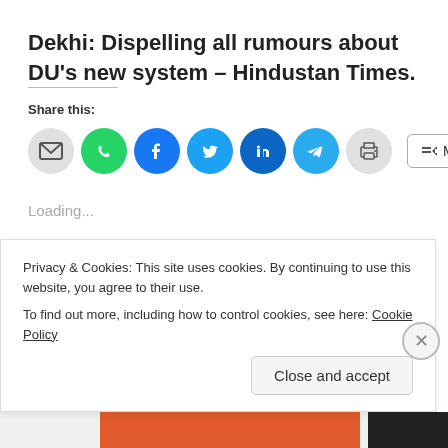Dekhi: Dispelling all rumours about DU's new system – Hindustan Times.
Share this:
[Figure (other): Row of social share icon buttons: email (grey circle), WhatsApp (green circle), Facebook (blue circle), Twitter (light blue circle), LinkedIn (dark blue circle), Telegram (blue circle), Print (grey circle), and a More button with share icon]
Loading...
Leave a comment
Privacy & Cookies: This site uses cookies. By continuing to use this website, you agree to their use.
To find out more, including how to control cookies, see here: Cookie Policy
Close and accept